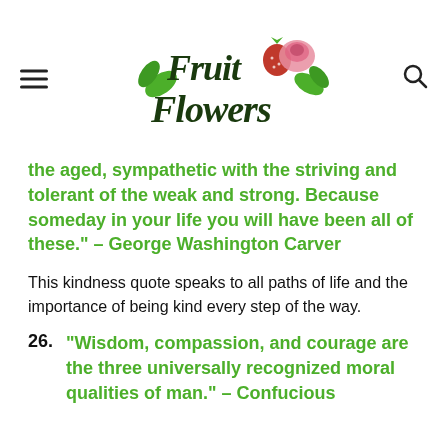[Figure (logo): Fruit Flowers logo with green lettering, strawberry and rose graphic]
the aged, sympathetic with the striving and tolerant of the weak and strong. Because someday in your life you will have been all of these." – George Washington Carver
This kindness quote speaks to all paths of life and the importance of being kind every step of the way.
26. “Wisdom, compassion, and courage are the three universally recognized moral qualities of man.” – Confucious